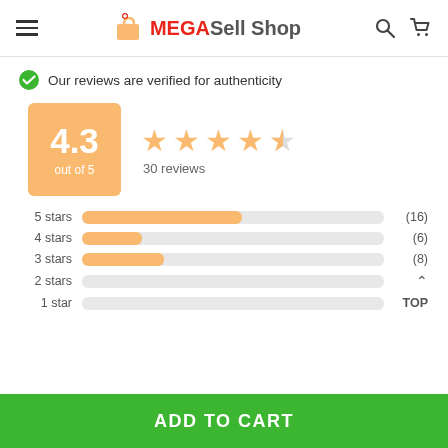MEGASell Shop — navigation header with hamburger menu, logo, search and cart icons
Our reviews are verified for authenticity
[Figure (infographic): Rating summary showing 4.3 out of 5 stars with 30 reviews, and bar chart breakdown: 5 stars (16), 4 stars (6), 3 stars (8), 2 stars (0), 1 star (0)]
ADD TO CART